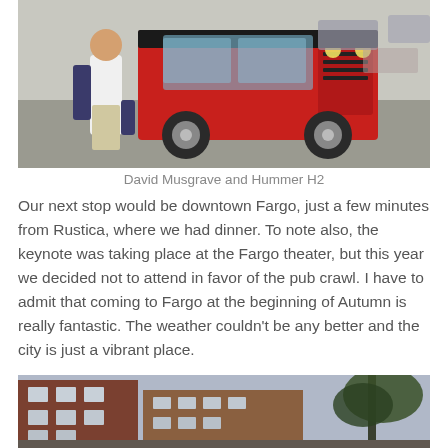[Figure (photo): Man in white shirt and khaki pants standing in front of a red Hummer H2 SUV in a parking lot]
David Musgrave and Hummer H2
Our next stop would be downtown Fargo, just a few minutes from Rustica, where we had dinner. To note also, the keynote was taking place at the Fargo theater, but this year we decided not to attend in favor of the pub crawl. I have to admit that coming to Fargo at the beginning of Autumn is really fantastic. The weather couldn't be any better and the city is just a vibrant place.
[Figure (photo): Street view of downtown Fargo buildings with brick architecture and trees at dusk]